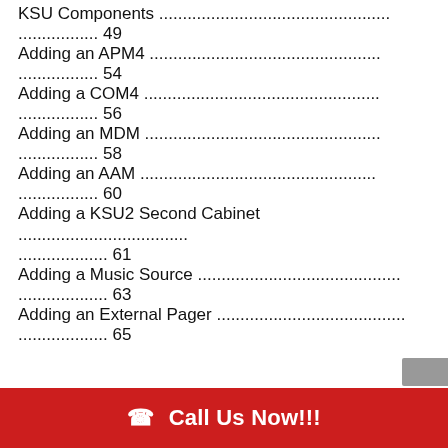KSU Components . . . . . . . . . . . . . . . . . . . . . . . . . . . . . . . . . . . . . . . . . . . . . . . . . . 49
Adding an APM4 . . . . . . . . . . . . . . . . . . . . . . . . . . . . . . . . . . . . . . . . . . . . . . . . . . . . 54
Adding a COM4 . . . . . . . . . . . . . . . . . . . . . . . . . . . . . . . . . . . . . . . . . . . . . . . . . . . . 56
Adding an MDM . . . . . . . . . . . . . . . . . . . . . . . . . . . . . . . . . . . . . . . . . . . . . . . . . . . 58
Adding an AAM . . . . . . . . . . . . . . . . . . . . . . . . . . . . . . . . . . . . . . . . . . . . . . . . . . . . 60
Adding a KSU2 Second Cabinet . . . . . . . . . . . . . . . . . . . . . . . . . . . . . . . . . . . . . . . . . 61
Adding a Music Source . . . . . . . . . . . . . . . . . . . . . . . . . . . . . . . . . . . . . . . . . . . . . . . 63
Adding an External Pager . . . . . . . . . . . . . . . . . . . . . . . . . . . . . . . . . . . . . . . . . . . . . 65
Call Us Now!!!